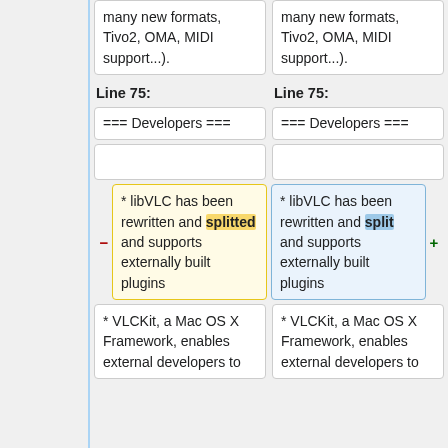many new formats, Tivo2, OMA, MIDI support...).
many new formats, Tivo2, OMA, MIDI support...).
Line 75:
Line 75:
=== Developers ===
=== Developers ===
* libVLC has been rewritten and splitted and supports externally built plugins
* libVLC has been rewritten and split and supports externally built plugins
* VLCKit, a Mac OS X Framework, enables external developers to
* VLCKit, a Mac OS X Framework, enables external developers to